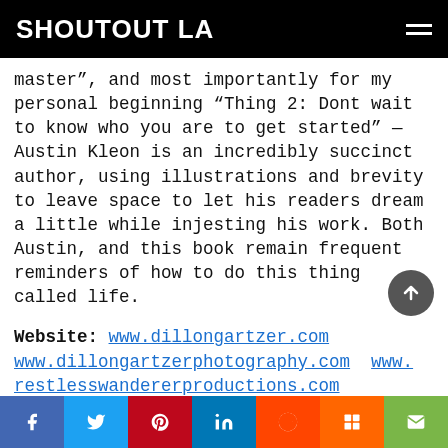SHOUTOUT LA
master”, and most importantly for my personal beginning “Thing 2: Dont wait to know who you are to get started” — Austin Kleon is an incredibly succinct author, using illustrations and brevity to leave space to let his readers dream a little while injesting his work. Both Austin, and this book remain frequent reminders of how to do this thing called life.
Website: www.dillongartzer.com www.dillongartzerphotography.com www.restlesswandererproductions.com
Social share bar: Facebook, Twitter, Pinterest, LinkedIn, Reddit, Mix, Email